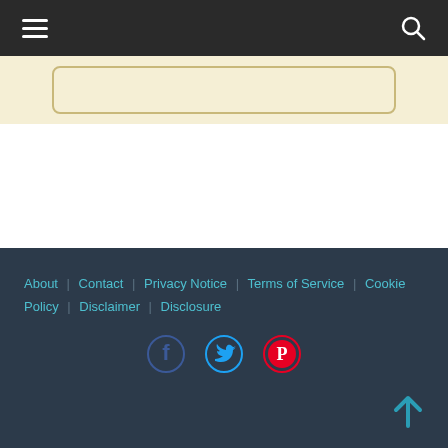Navigation bar with hamburger menu and search icon
[Figure (illustration): Cream/tan colored banner strip with rounded rectangle outline]
[Figure (infographic): Promotional banner with gray background. Headline: "The Little-Known Way To Make $3,000+ Per Month Online By Borrowing Internet Millionaires Websites" with subtext: (Even if you have very little experience, no email list and no one even knows who you are yet!) and a photo of a man on the right.]
About | Contact | Privacy Notice | Terms of Service | Cookie Policy | Disclaimer | Disclosure